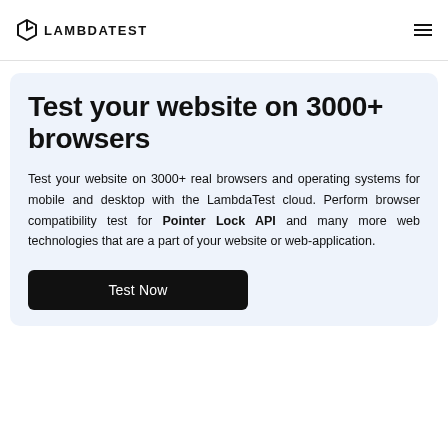LAMBDATEST
Test your website on 3000+ browsers
Test your website on 3000+ real browsers and operating systems for mobile and desktop with the LambdaTest cloud. Perform browser compatibility test for Pointer Lock API and many more web technologies that are a part of your website or web-application.
Test Now